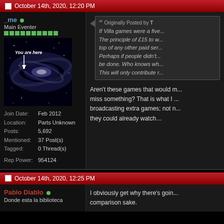October 14th, 2020, 12:20 PM
_me [online]
Main Eventer
[Figure (illustration): Galaxy image with 'You are here' label and arrow pointing to location]
Join Date: Feb 2012
Location: Parts Unknown
Posts: 5,692
Mentioned: 37 Post(s)
Tagged: 0 Thread(s)
Rep Power: 954124
Originally Posted by T[truncated] - If Villa games were a five... The principle of £15 to w... top of any other paid ser... Perhaps if people didn't... be done. Who knows wh... This will only contribute r...
Aren't these games that would m... miss something? That is what I ... broadcasting extra games; not n... they could already watch…
October 14th, 2020, 12:25 PM
Pablo Diablo [online]
Donde esta la biblioteca
I obviously get why there's goin... comparison sake.